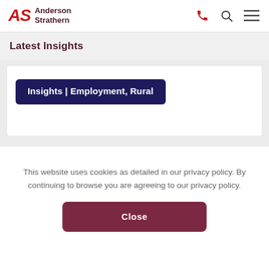Anderson Strathern
Latest Insights
Insights | Employment, Rural
This website uses cookies as detailed in our privacy policy. By continuing to browse you are agreeing to our privacy policy.
Close